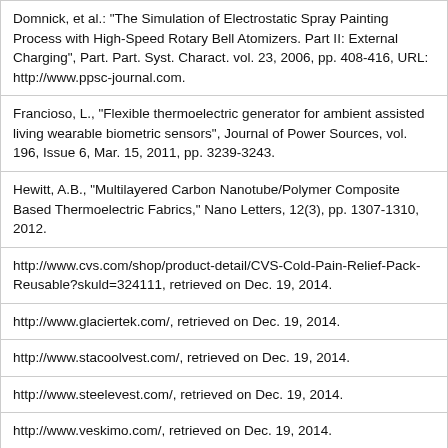| Domnick, et al.: "The Simulation of Electrostatic Spray Painting Process with High-Speed Rotary Bell Atomizers. Part II: External Charging", Part. Part. Syst. Charact. vol. 23, 2006, pp. 408-416, URL: http://www.ppsc-journal.com. |
| Francioso, L., "Flexible thermoelectric generator for ambient assisted living wearable biometric sensors", Journal of Power Sources, vol. 196, Issue 6, Mar. 15, 2011, pp. 3239-3243. |
| Hewitt, A.B., "Multilayered Carbon Nanotube/Polymer Composite Based Thermoelectric Fabrics," Nano Letters, 12(3), pp. 1307-1310, 2012. |
| http://www.cvs.com/shop/product-detail/CVS-Cold-Pain-Relief-Pack-Reusable?skuld=324111, retrieved on Dec. 19, 2014. |
| http://www.glaciertek.com/, retrieved on Dec. 19, 2014. |
| http://www.stacoolvest.com/, retrieved on Dec. 19, 2014. |
| http://www.steelevest.com/, retrieved on Dec. 19, 2014. |
| http://www.veskimo.com/, retrieved on Dec. 19, 2014. |
| Kelly, Ryan T, et al..: "The ion funnel: theory, implementations, and applications", Mass Spectrometry Reviews,vol. 29, 2010, pp. 294-312. |